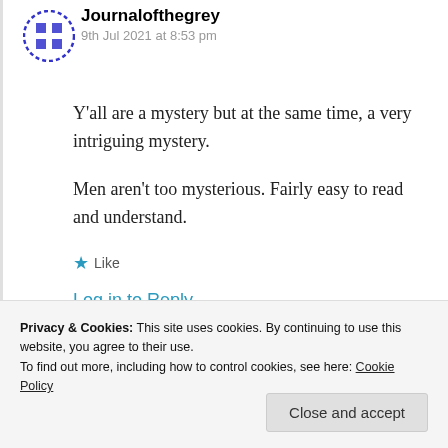Journalofthegrey — 9th Jul 2021 at 8:53 pm
Y’all are a mystery but at the same time, a very intriguing mystery.

Men aren’t too mysterious. Fairly easy to read and understand.
★ Like
Log in to Reply
Privacy & Cookies: This site uses cookies. By continuing to use this website, you agree to their use.
To find out more, including how to control cookies, see here: Cookie Policy